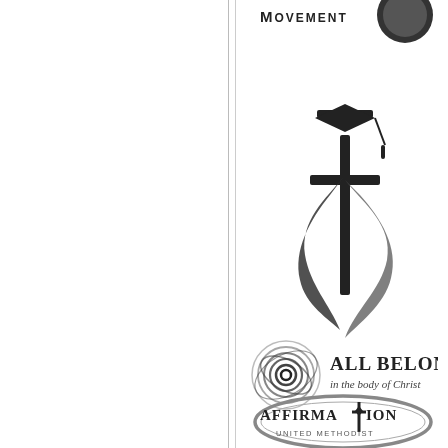[Figure (logo): United Methodist cross and flame logo with graduation cap on top]
[Figure (logo): All Belong in the body of Christ logo with concentric circle design]
[Figure (logo): Affirmation United Methodist logo in oval shape]